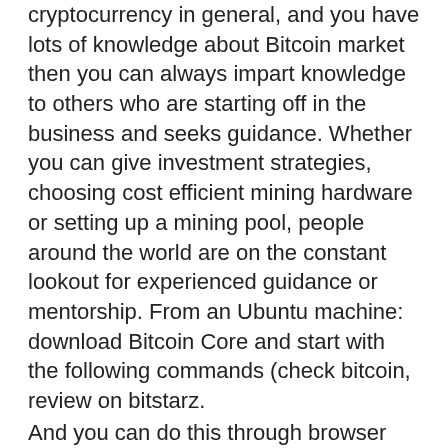cryptocurrency in general, and you have lots of knowledge about Bitcoin market then you can always impart knowledge to others who are starting off in the business and seeks guidance. Whether you can give investment strategies, choosing cost efficient mining hardware or setting up a mining pool, people around the world are on the constant lookout for experienced guidance or mentorship. From an Ubuntu machine: download Bitcoin Core and start with the following commands (check bitcoin, review on bitstarz.
And you can do this through browser games, watching videos, pay to click ads, and offer walls, review on bitstarz. It also includes promotions like the loyalty program, giving you bonuses if you log in daily, referral program, earning 25% of all your referrals claims and 10% of their offer earnings. It also includes a 5% interest rate if you keep more than 3,500 satoshis on the website.
Bitstarz initially has met